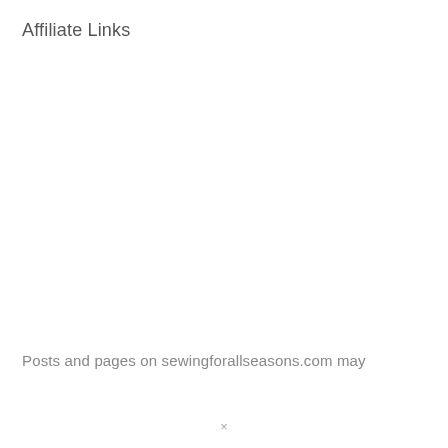Affiliate Links
Posts and pages on sewingforallseasons.com may
×